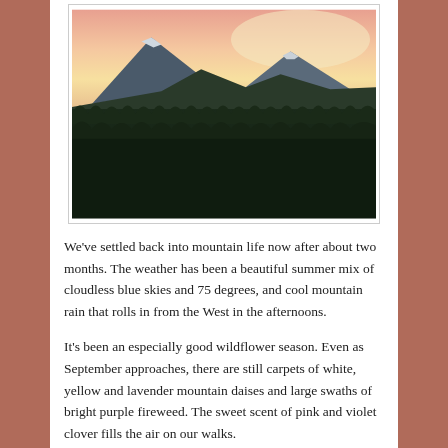[Figure (photo): Mountain landscape at dusk/dawn with snow-capped peaks rising above a dense dark evergreen forest. The sky is pink and yellow-orange near the horizon.]
We've settled back into mountain life now after about two months. The weather has been a beautiful summer mix of cloudless blue skies and 75 degrees, and cool mountain rain that rolls in from the West in the afternoons.
It's been an especially good wildflower season. Even as September approaches, there are still carpets of white, yellow and lavender mountain daises and large swaths of bright purple fireweed. The sweet scent of pink and violet clover fills the air on our walks.
The monsoon moisture has also kept the forest floors